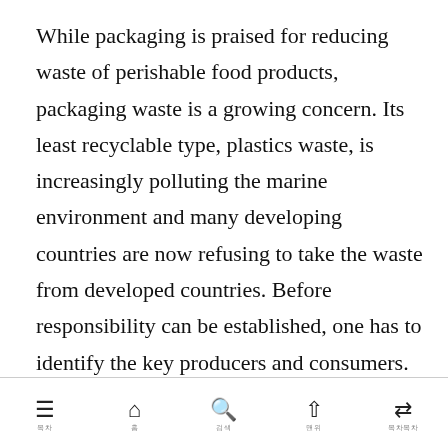While packaging is praised for reducing waste of perishable food products, packaging waste is a growing concern. Its least recyclable type, plastics waste, is increasingly polluting the marine environment and many developing countries are now refusing to take the waste from developed countries. Before responsibility can be established, one has to identify the key producers and consumers. This paper adjusts the packaging waste satellite account in EXIOBASE 3 by combining the official waste data published by the World Bank. Based on input–output methods, we find that the world's top suppliers of plastic packaging waste are the United States, China, and Brazil. Food and beverage products constitute the bulk of
≡ 홈 검색 맨위 목차